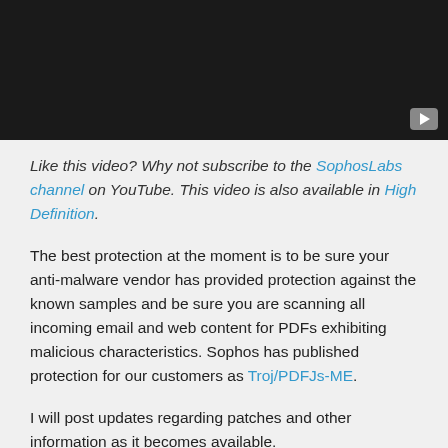[Figure (screenshot): Dark video thumbnail with a play button in the bottom-right corner]
Like this video? Why not subscribe to the SophosLabs channel on YouTube. This video is also available in High Definition.
The best protection at the moment is to be sure your anti-malware vendor has provided protection against the known samples and be sure you are scanning all incoming email and web content for PDFs exhibiting malicious characteristics. Sophos has published protection for our customers as Troj/PDFJs-ME.
I will post updates regarding patches and other information as it becomes available.